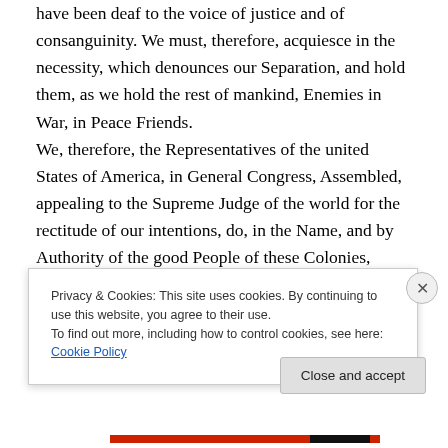have been deaf to the voice of justice and of consanguinity. We must, therefore, acquiesce in the necessity, which denounces our Separation, and hold them, as we hold the rest of mankind, Enemies in War, in Peace Friends.
We, therefore, the Representatives of the united States of America, in General Congress, Assembled, appealing to the Supreme Judge of the world for the rectitude of our intentions, do, in the Name, and by Authority of the good People of these Colonies, solemnly publish and declare, That these united Colonies are, and of Right ought to be
Privacy & Cookies: This site uses cookies. By continuing to use this website, you agree to their use.
To find out more, including how to control cookies, see here: Cookie Policy
Close and accept